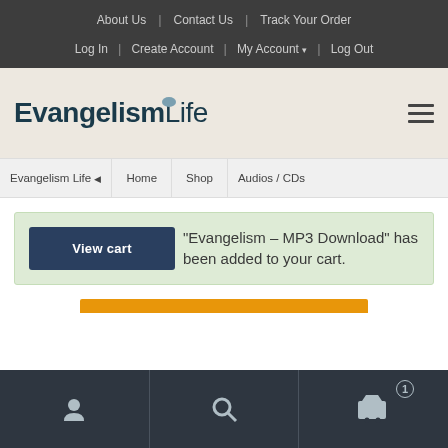About Us | Contact Us | Track Your Order | Log In | Create Account | My Account | Log Out
[Figure (logo): EvangelismLife logo with speech bubble icon, bold dark teal text]
Evangelism Life | Home | Shop | Audios / CDs
"Evangelism – MP3 Download" has been added to your cart.
User icon | Search icon | Cart icon with badge 1